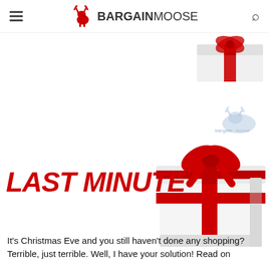BARGAINMOOSE
[Figure (illustration): White gift box with red ribbon and bow, partially cropped at top right corner of page]
[Figure (logo): BargainMoose watermark logo in light blue/grey, showing moose with text 'bargain moose']
[Figure (illustration): White gift box with large red ribbon and bow, right side of page]
LAST MINUTE
It's Christmas Eve and you still haven't done any shopping? Terrible, just terrible. Well, I have your solution! Read on